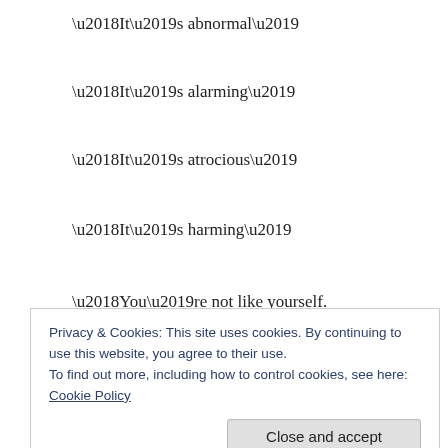‘It’s abnormal’
‘It’s alarming’
‘It’s atrocious’
‘It’s harming’
‘You’re not like yourself.
You’re like some devil’s spawn.
Earth to your planet
Privacy & Cookies: This site uses cookies. By continuing to use this website, you agree to their use.
To find out more, including how to control cookies, see here: Cookie Policy
Close and accept
‘No-one can get you